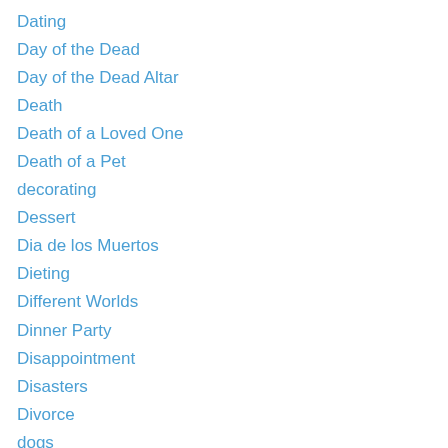Dating
Day of the Dead
Day of the Dead Altar
Death
Death of a Loved One
Death of a Pet
decorating
Dessert
Dia de los Muertos
Dieting
Different Worlds
Dinner Party
Disappointment
Disasters
Divorce
dogs
Dolls
Doors
Dorothy Parker
Dragonfly images,